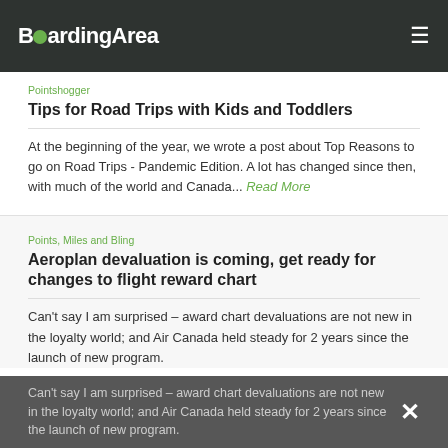BoardingArea
Pointshogger
Tips for Road Trips with Kids and Toddlers
At the beginning of the year, we wrote a post about Top Reasons to go on Road Trips - Pandemic Edition. A lot has changed since then, with much of the world and Canada... Read More
Points, Miles and Bling
Aeroplan devaluation is coming, get ready for changes to flight reward chart
Can't say I am surprised – award chart devaluations are not new in the loyalty world; and Air Canada held steady for 2 years since the launch of new program.